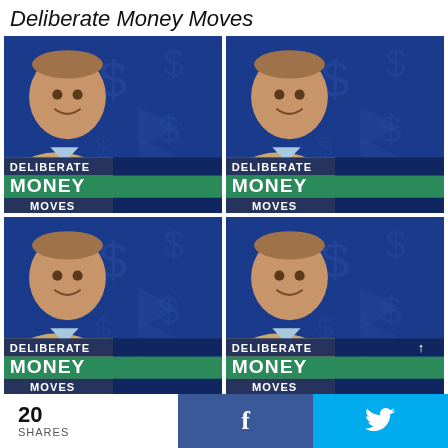Deliberate Money Moves
[Figure (illustration): 2x2 grid of podcast cover art thumbnails for 'Deliberate Money Moves' podcast. Each thumbnail shows a smiling bald man in a beige blazer against a dark blue background with dollar signs, with text overlays reading 'DELIBERATE' (dark blue bar), 'MONEY' (green bar), 'MOVES' (dark blue bar). The bottom two thumbnails are partially cut off. The bottom-right thumbnail has an upward arrow icon.]
20 SHARES   f   🐦